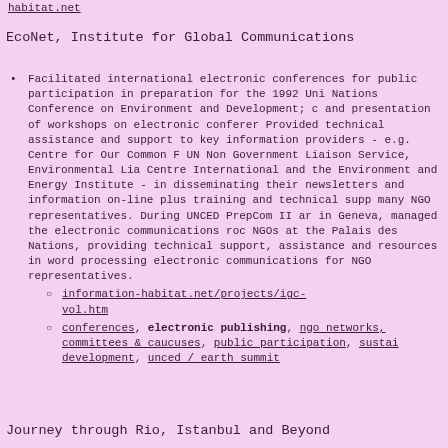habitat.net
EcoNet, Institute for Global Communications
Facilitated international electronic conferences for public participation in preparation for the 1992 United Nations Conference on Environment and Development; and presentation of workshops on electronic conferencing. Provided technical assistance and support to key information providers - e.g. Centre for Our Common Future, UN Non Government Liaison Service, Environmental Liaison Centre International and the Environment and Energy Study Institute - in disseminating their newsletters and information on-line plus training and technical support for many NGO representatives. During UNCED PrepCom II and III in Geneva, managed the electronic communications room for NGOs at the Palais des Nations, providing technical support, assistance and resources in word processing and electronic communications for NGO representatives.
information-habitat.net/projects/igc-vol.htm
conferences, electronic publishing, ngo networks, committees & caucuses, public participation, sustainable development, unced / earth summit
Journey through Rio, Istanbul and Beyond